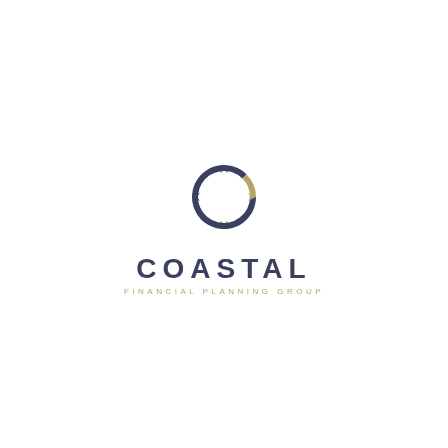[Figure (logo): Coastal Financial Planning Group logo — a compass/C-shaped icon in dark navy and gold, with the company name below in navy and 'FINANCIAL PLANNING GROUP' in gold]